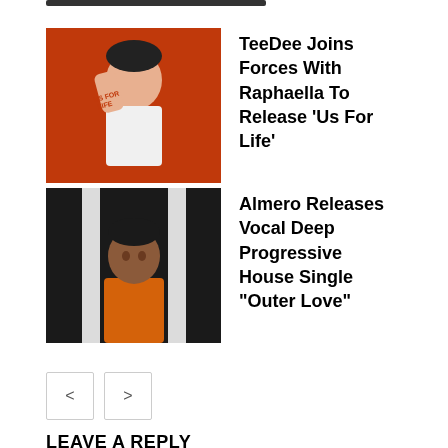[Figure (photo): Photo of TeeDee artist with hand raised in front of orange/red background with 'Us For Life' text visible]
TeeDee Joins Forces With Raphaella To Release ‘Us For Life’
[Figure (photo): Photo of Almero artist in orange shirt against dark background with vertical white bars]
Almero Releases Vocal Deep Progressive House Single “Outer Love”
< >
LEAVE A REPLY
Comment: